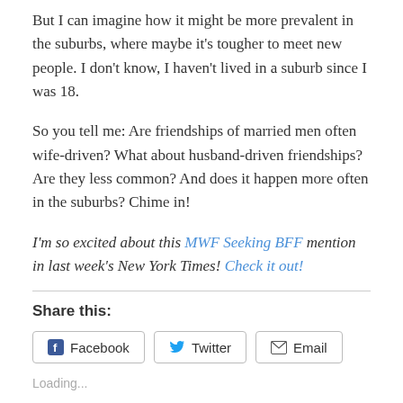But I can imagine how it might be more prevalent in the suburbs, where maybe it’s tougher to meet new people. I don’t know, I haven’t lived in a suburb since I was 18.
So you tell me: Are friendships of married men often wife-driven? What about husband-driven friendships? Are they less common? And does it happen more often in the suburbs? Chime in!
I’m so excited about this MWF Seeking BFF mention in last week’s New York Times! Check it out!
Share this:
Facebook  Twitter  Email
Loading...